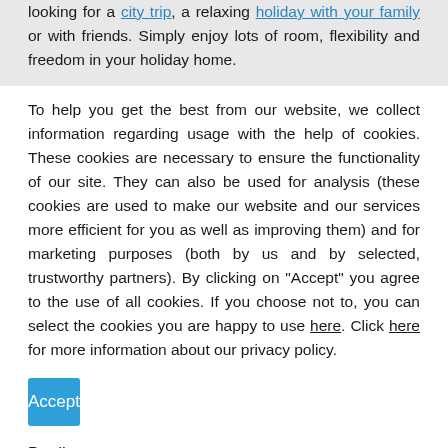looking for a city trip, a relaxing holiday with your family or with friends. Simply enjoy lots of room, flexibility and freedom in your holiday home.
To help you get the best from our website, we collect information regarding usage with the help of cookies. These cookies are necessary to ensure the functionality of our site. They can also be used for analysis (these cookies are used to make our website and our services more efficient for you as well as improving them) and for marketing purposes (both by us and by selected, trustworthy partners). By clicking on "Accept" you agree to the use of all cookies. If you choose not to, you can select the cookies you are happy to use here. Click here for more information about our privacy policy.
Accept
Decline
Configure